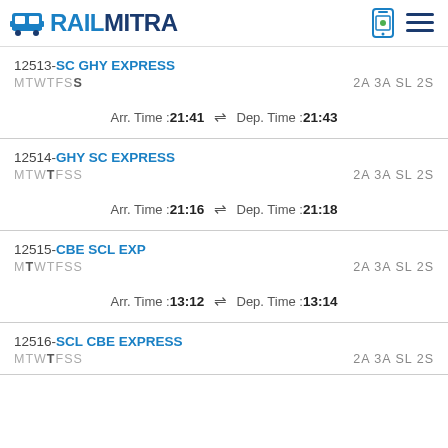RAILMITRA
12513-SC GHY EXPRESS
MTWTFSS 2A 3A SL 2S
Arr. Time :21:41 ⇌ Dep. Time :21:43
12514-GHY SC EXPRESS
MTWTFSS 2A 3A SL 2S
Arr. Time :21:16 ⇌ Dep. Time :21:18
12515-CBE SCL EXP
MTWTFSS 2A 3A SL 2S
Arr. Time :13:12 ⇌ Dep. Time :13:14
12516-SCL CBE EXPRESS
MTWTFSS 2A 3A SL 2S